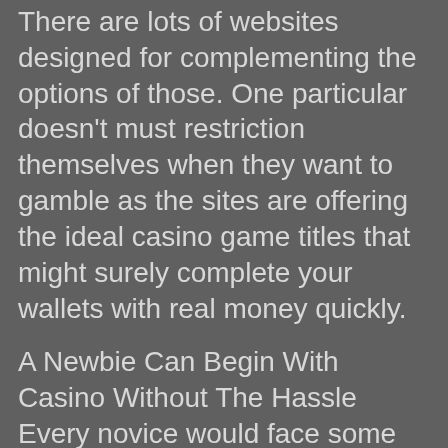There are lots of websites designed for complementing the options of those. One particular doesn't must restriction themselves when they want to gamble as the sites are offering the ideal casino game titles that might surely complete your wallets with real money quickly.
A Newbie Can Begin With Casino Without The Hassle
Every novice would face some issues after they start wagering in real casinos as they are filled by specialist gamblers. This is not the way it is using the on the web gambling establishment systems like 슬롯머신. The web based On line casino web sites offer a huge number of availability capabilities to ensure that no beginner discovers it hard to begin